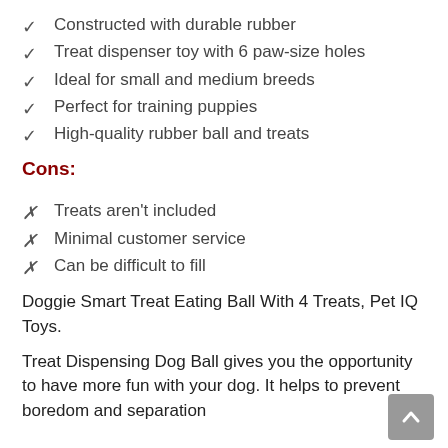✓  Constructed with durable rubber
✓  Treat dispenser toy with 6 paw-size holes
✓  Ideal for small and medium breeds
✓  Perfect for training puppies
✓  High-quality rubber ball and treats
Cons:
✗  Treats aren't included
✗  Minimal customer service
✗  Can be difficult to fill
Doggie Smart Treat Eating Ball With 4 Treats, Pet IQ Toys.
Treat Dispensing Dog Ball gives you the opportunity to have more fun with your dog. It helps to prevent boredom and separation